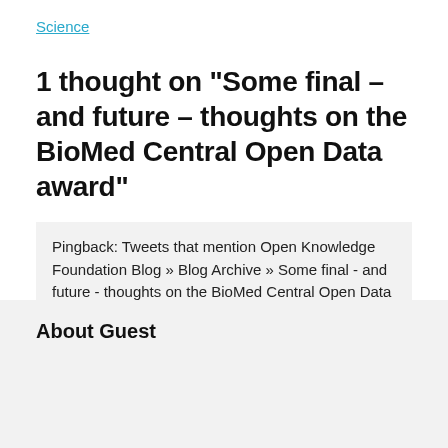Science
1 thought on “Some final – and future – thoughts on the BioMed Central Open Data award”
Pingback: Tweets that mention Open Knowledge Foundation Blog » Blog Archive » Some final - and future - thoughts on the BioMed Central Open Data award -- Topsy.com
Comments are closed.
About Guest